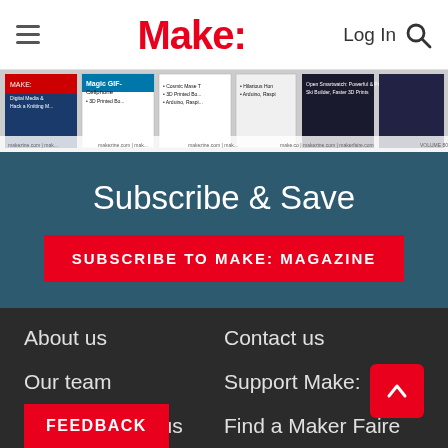Make:  Log In 🔍
[Figure (screenshot): Horizontal strip of Make: magazine issue thumbnails]
Subscribe & Save
SUBSCRIBE TO MAKE: MAGAZINE
About us
Contact us
Our team
Support Make:
Advertise with us
Find a Maker Faire
FEEDBACK
Manage Magazine